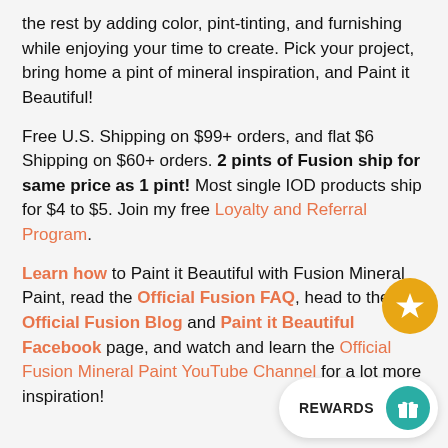the rest by adding color, pint-tinting, and furnishing while enjoying your time to create. Pick your project, bring home a pint of mineral inspiration, and Paint it Beautiful!
Free U.S. Shipping on $99+ orders, and flat $6 Shipping on $60+ orders. 2 pints of Fusion ship for same price as 1 pint! Most single IOD products ship for $4 to $5. Join my free Loyalty and Referral Program.
Learn how to Paint it Beautiful with Fusion Mineral Paint, read the Official Fusion FAQ, head to the Official Fusion Blog and Paint it Beautiful Facebook page, and watch and learn the Official Fusion Mineral Paint YouTube Channel for a lot more inspiration!
[Figure (other): Gold circular button with white star icon]
[Figure (other): White pill-shaped rewards bar with REWARDS text and teal circular icon with gift box]